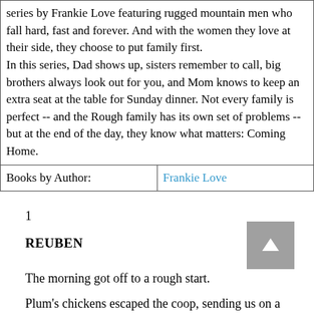| series by Frankie Love featuring rugged mountain men who fall hard, fast and forever. And with the women they love at their side, they choose to put family first.
In this series, Dad shows up, sisters remember to call, big brothers always look out for you, and Mom knows to keep an extra seat at the table for Sunday dinner. Not every family is perfect -- and the Rough family has its own set of problems -- but at the end of the day, they know what matters: Coming Home. |  |
| Books by Author: | Frankie Love |
1
REUBEN
The morning got off to a rough start.
Plum's chickens escaped the coop, sending us on a wild goose